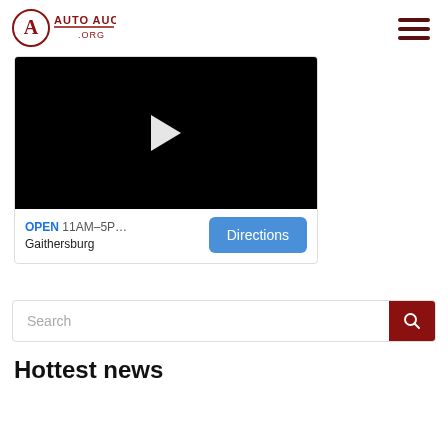[Figure (logo): Auto Auction .org logo with circular A emblem and red text]
[Figure (other): Hamburger menu icon with three dark red horizontal bars]
[Figure (screenshot): Black video thumbnail with white play button triangle]
OPEN 11AM–5P… Gaithersburg
[Figure (other): Blue Directions button]
[Figure (other): Search bar with dark red search button]
Hottest news